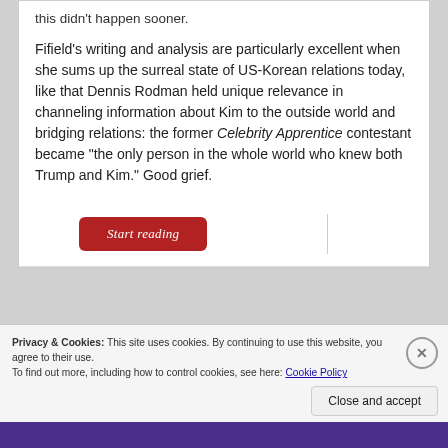this didn't happen sooner.
Fifield's writing and analysis are particularly excellent when she sums up the surreal state of US-Korean relations today, like that Dennis Rodman held unique relevance in channeling information about Kim to the outside world and bridging relations: the former Celebrity Apprentice contestant became “the only person in the whole world who knew both Trump and Kim.” Good grief.
Start reading
Privacy & Cookies: This site uses cookies. By continuing to use this website, you agree to their use.
To find out more, including how to control cookies, see here: Cookie Policy
Close and accept